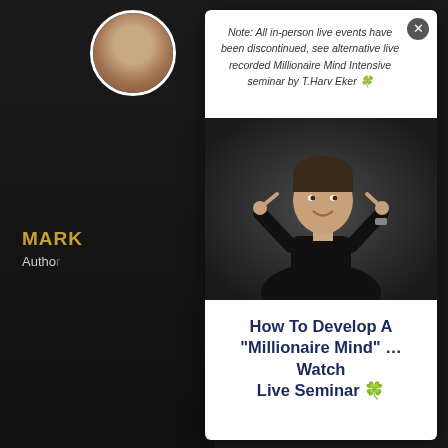[Figure (screenshot): Website page partially visible behind a modal popup, showing a dark background with a circular headshot photo of a man (Mark), his name 'MARK' in gold text, 'Author' label in gray, an italic quote beginning with 'If you...' and a small circular thumbnail at bottom left.]
Note: All in-person live events have been discontinued, see alternative live recorded Millionaire Mind Intensive seminar by T.Harv Eker 🍀
[Figure (photo): Photo of a smiling man in a black long-sleeve shirt with both index fingers pointing to his temples, posed against a dark background.]
How To Develop A "Millionaire Mind" … Watch Live Seminar 🍀